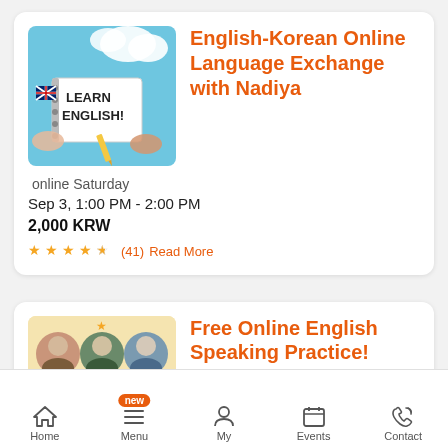[Figure (photo): Photo of hands writing LEARN ENGLISH on a notebook with a pencil, UK flag visible, light blue background]
English-Korean Online Language Exchange with Nadiya
online Saturday
Sep 3, 1:00 PM - 2:00 PM
2,000 KRW
★★★★½ (41) Read More
[Figure (photo): Thumbnails of three user profile photos (Laura, David Woodworth, James Sung) on a light yellow background]
Free Online English Speaking Practice!
Home  Menu  My  Events  Contact